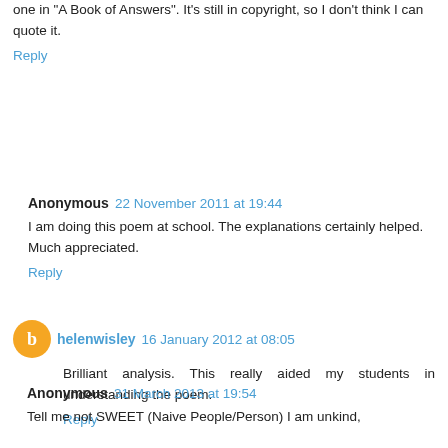one in "A Book of Answers". It's still in copyright, so I don't think I can quote it.
Reply
Anonymous 22 November 2011 at 19:44
I am doing this poem at school. The explanations certainly helped. Much appreciated.
Reply
helenwisley 16 January 2012 at 08:05
Brilliant analysis. This really aided my students in understanding the poem.
Reply
Anonymous 31 March 2013 at 19:54
Tell me not SWEET (Naive People/Person) I am unkind,